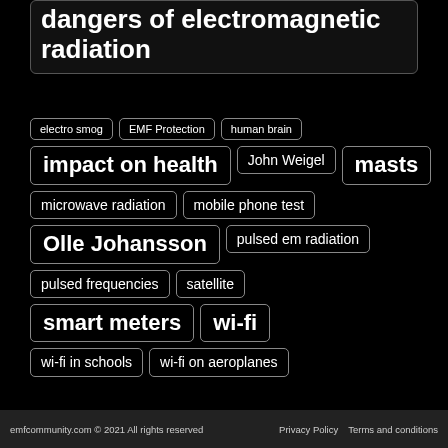dangers of electromagnetic radiation
electro smog
EMF Protection
human brain
impact on health
John Weigel
masts
microwave radiation
mobile phone test
Olle Johansson
pulsed em radiation
pulsed frequencies
satellite
smart meters
wi-fi
wi-fi in schools
wi-fi on aeroplanes
emfcommunity.com © 2021 All rights reserved   Privacy Policy   Terms and conditions